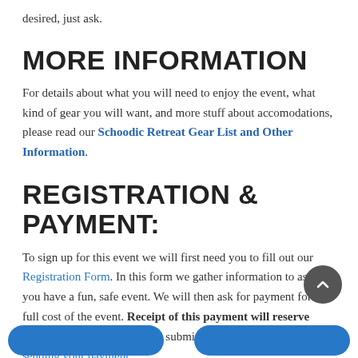desired, just ask.
MORE INFORMATION
For details about what you will need to enjoy the event, what kind of gear you will want, and more stuff about accomodations, please read our Schoodic Retreat Gear List and Other Information.
REGISTRATION & PAYMENT:
To sign up for this event we will first need you to fill out our Registration Form. In this form we gather information to assure you have a fun, safe event. We will then ask for payment for the full cost of the event. Receipt of this payment will reserve your spot. Please fill out and submit the registration before sending your payment